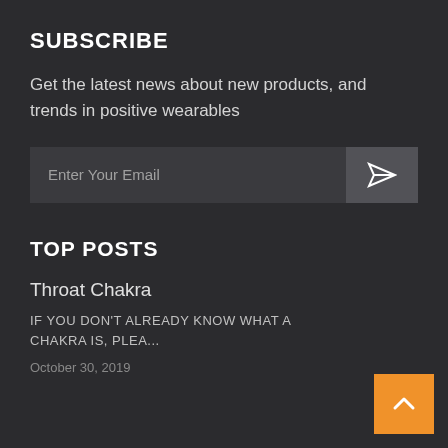SUBSCRIBE
Get the latest news about new products, and trends in positive wearables
[Figure (other): Email subscription form with text input 'Enter Your Email' and a send button with paper airplane icon]
TOP POSTS
Throat Chakra
IF YOU DON'T ALREADY KNOW WHAT A CHAKRA IS, PLEA...
October 30, 2019